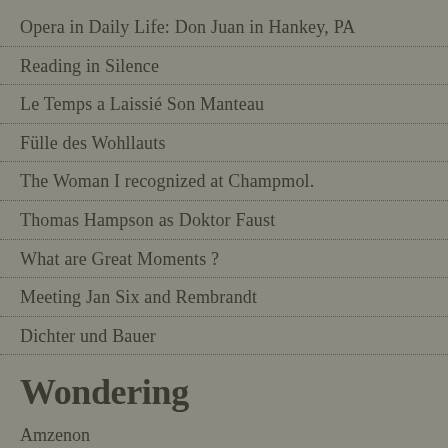Opera in Daily Life: Don Juan in Hankey, PA
Reading in Silence
Le Temps a Laissié Son Manteau
Fülle des Wohllauts
The Woman I recognized at Champmol.
Thomas Hampson as Doktor Faust
What are Great Moments ?
Meeting Jan Six and Rembrandt
Dichter und Bauer
Wondering
Amzenon